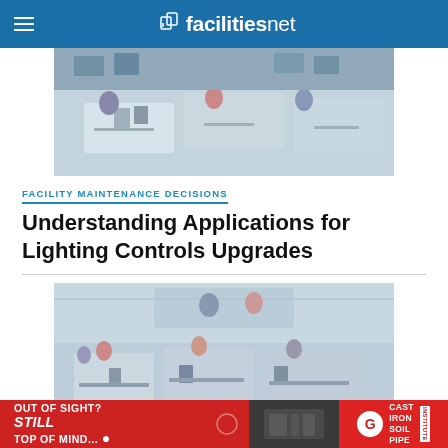facilitiesnet
[Figure (photo): Office workers gathered around desks with computers in an open-plan office environment]
FACILITY MAINTENANCE DECISIONS
Understanding Applications for Lighting Controls Upgrades
[Figure (photo): Open-plan office with multiple workers at desks with computers and cubicle dividers, larger view]
[Figure (photo): Advertisement banner: OUT OF SIGHT? STILL TOP OF MIND... Cast Iron Soil Pipe Institute]